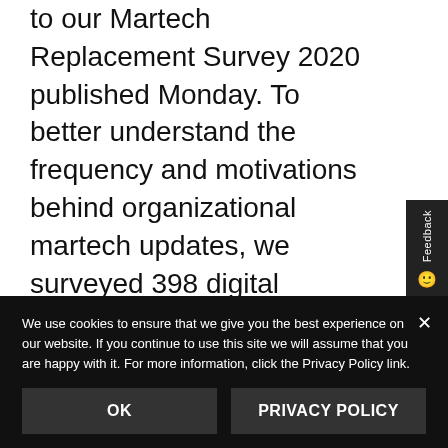to our Martech Replacement Survey 2020 published Monday. To better understand the frequency and motivations behind organizational martech updates, we surveyed 398 digital marketers in October. Several interesting trends emerged. Organizations are moving away from in-house solutions. In a striking find, many companies are migrating away...
We use cookies to ensure that we give you the best experience on our website. If you continue to use this site we will assume that you are happy with it. For more information, click the Privacy Policy link.